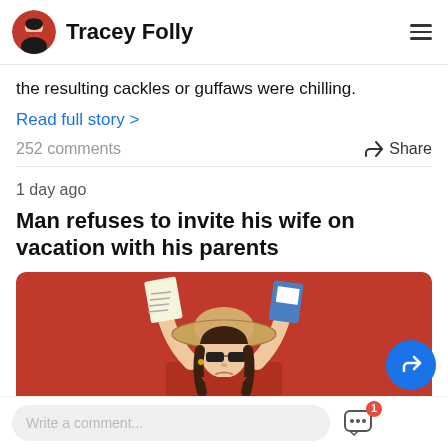Tracey Folly
the resulting cackles or guffaws were chilling.
Read full story >
252 comments
Share
1 day ago
Man refuses to invite his wife on vacation with his parents
[Figure (photo): Woman with sunglasses and straw hat holding documents/passport with arms raised against a red background]
Write a comment...